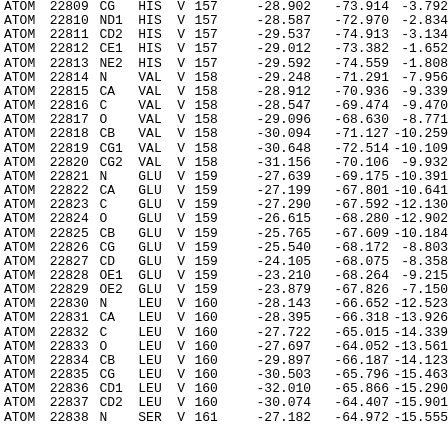| Record | Serial | Name | ResName | Chain | ResSeq | X | Y | Z |
| --- | --- | --- | --- | --- | --- | --- | --- | --- |
| ATOM | 22809 | CG | HIS | V | 157 | -28.902 | -73.914 | -3.792 |
| ATOM | 22810 | ND1 | HIS | V | 157 | -28.587 | -72.970 | -2.834 |
| ATOM | 22811 | CD2 | HIS | V | 157 | -29.537 | -74.913 | -3.134 |
| ATOM | 22812 | CE1 | HIS | V | 157 | -29.012 | -73.382 | -1.652 |
| ATOM | 22813 | NE2 | HIS | V | 157 | -29.592 | -74.559 | -1.808 |
| ATOM | 22814 | N | VAL | V | 158 | -29.248 | -71.291 | -7.956 |
| ATOM | 22815 | CA | VAL | V | 158 | -28.912 | -70.936 | -9.339 |
| ATOM | 22816 | C | VAL | V | 158 | -28.547 | -69.474 | -9.470 |
| ATOM | 22817 | O | VAL | V | 158 | -29.096 | -68.630 | -8.771 |
| ATOM | 22818 | CB | VAL | V | 158 | -30.094 | -71.127 | -10.259 |
| ATOM | 22819 | CG1 | VAL | V | 158 | -30.648 | -72.514 | -10.109 |
| ATOM | 22820 | CG2 | VAL | V | 158 | -31.156 | -70.106 | -9.932 |
| ATOM | 22821 | N | GLU | V | 159 | -27.639 | -69.175 | -10.391 |
| ATOM | 22822 | CA | GLU | V | 159 | -27.199 | -67.801 | -10.641 |
| ATOM | 22823 | C | GLU | V | 159 | -27.290 | -67.592 | -12.130 |
| ATOM | 22824 | O | GLU | V | 159 | -26.615 | -68.280 | -12.902 |
| ATOM | 22825 | CB | GLU | V | 159 | -25.765 | -67.609 | -10.184 |
| ATOM | 22826 | CG | GLU | V | 159 | -25.540 | -68.172 | -8.803 |
| ATOM | 22827 | CD | GLU | V | 159 | -24.105 | -68.075 | -8.358 |
| ATOM | 22828 | OE1 | GLU | V | 159 | -23.210 | -68.264 | -9.215 |
| ATOM | 22829 | OE2 | GLU | V | 159 | -23.879 | -67.826 | -7.150 |
| ATOM | 22830 | N | LEU | V | 160 | -28.143 | -66.652 | -12.523 |
| ATOM | 22831 | CA | LEU | V | 160 | -28.395 | -66.318 | -13.926 |
| ATOM | 22832 | C | LEU | V | 160 | -27.722 | -65.015 | -14.339 |
| ATOM | 22833 | O | LEU | V | 160 | -27.697 | -64.052 | -13.561 |
| ATOM | 22834 | CB | LEU | V | 160 | -29.897 | -66.187 | -14.123 |
| ATOM | 22835 | CG | LEU | V | 160 | -30.503 | -65.796 | -15.463 |
| ATOM | 22836 | CD1 | LEU | V | 160 | -32.010 | -65.866 | -15.290 |
| ATOM | 22837 | CD2 | LEU | V | 160 | -30.074 | -64.407 | -15.901 |
| ATOM | 22838 | N | SER | V | 161 | -27.182 | -64.972 | -15.555 |